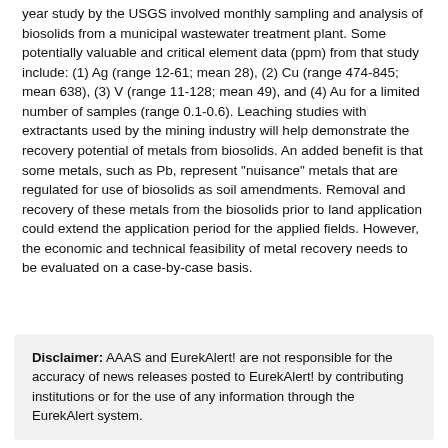year study by the USGS involved monthly sampling and analysis of biosolids from a municipal wastewater treatment plant. Some potentially valuable and critical element data (ppm) from that study include: (1) Ag (range 12-61; mean 28), (2) Cu (range 474-845; mean 638), (3) V (range 11-128; mean 49), and (4) Au for a limited number of samples (range 0.1-0.6). Leaching studies with extractants used by the mining industry will help demonstrate the recovery potential of metals from biosolids. An added benefit is that some metals, such as Pb, represent "nuisance" metals that are regulated for use of biosolids as soil amendments. Removal and recovery of these metals from the biosolids prior to land application could extend the application period for the applied fields. However, the economic and technical feasibility of metal recovery needs to be evaluated on a case-by-case basis.
Disclaimer: AAAS and EurekAlert! are not responsible for the accuracy of news releases posted to EurekAlert! by contributing institutions or for the use of any information through the EurekAlert system.